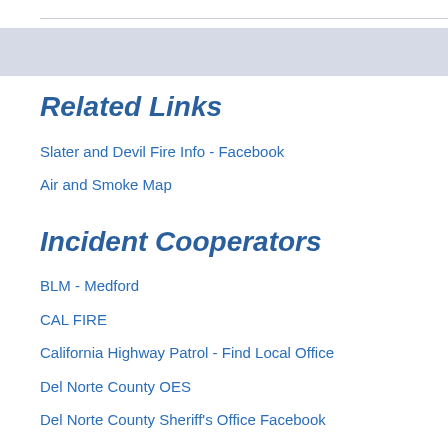Related Links
Slater and Devil Fire Info - Facebook
Air and Smoke Map
Incident Cooperators
BLM - Medford
CAL FIRE
California Highway Patrol - Find Local Office
Del Norte County OES
Del Norte County Sheriff's Office Facebook
Grant's Pass Fire / Rescue Division
Josephine County Sheriff's Office Facebook
Karuk Tribe